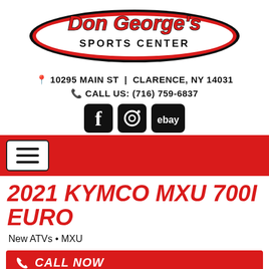[Figure (logo): Don George's Sports Center logo with red and white stylized text on white background]
📍 10295 MAIN ST | CLARENCE, NY 14031
📞 CALL US: (716) 759-6837
[Figure (illustration): Social media icons: Facebook, Instagram, eBay]
[Figure (other): Red navigation bar with hamburger menu icon]
2021 KYMCO MXU 700I EURO
New ATVs • MXU
CALL NOW